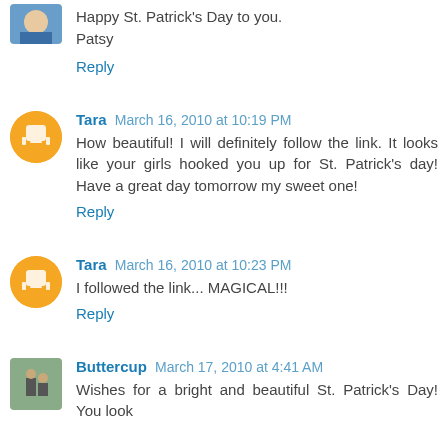Happy St. Patrick's Day to you.
Patsy
Reply
Tara March 16, 2010 at 10:19 PM
How beautiful! I will definitely follow the link. It looks like your girls hooked you up for St. Patrick's day! Have a great day tomorrow my sweet one!
Reply
Tara March 16, 2010 at 10:23 PM
I followed the link... MAGICAL!!!
Reply
Buttercup March 17, 2010 at 4:41 AM
Wishes for a bright and beautiful St. Patrick's Day! You look